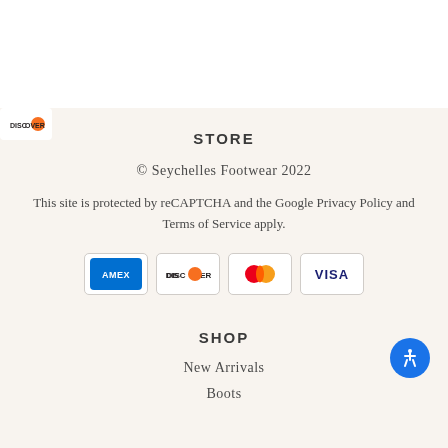STORE
© Seychelles Footwear 2022
This site is protected by reCAPTCHA and the Google Privacy Policy and Terms of Service apply.
[Figure (logo): Payment method icons: American Express (AMEX), Discover, Mastercard, Visa]
SHOP
New Arrivals
Boots